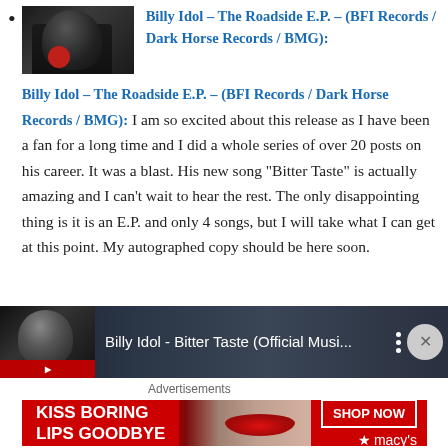Billy Idol – The Roadside E.P. – (BFI Records / Dark Horse Records / BMG): I am so excited about this release as I have been a fan for a long time and I did a whole series of over 20 posts on his career. It was a blast. His new song "Bitter Taste" is actually amazing and I can't wait to hear the rest. The only disappointing thing is it is an E.P. and only 4 songs, but I will take what I can get at this point. My autographed copy should be here soon.
[Figure (screenshot): YouTube embed thumbnail showing Billy Idol - Bitter Taste (Official Musi...) with a dark moody background and three-dot menu icon and close button]
Advertisements
[Figure (photo): Macy's advertisement banner with red background, text 'KISS BORING LIPS GOODBYE', a model with red lips, SHOP NOW button, and Macy's star logo]